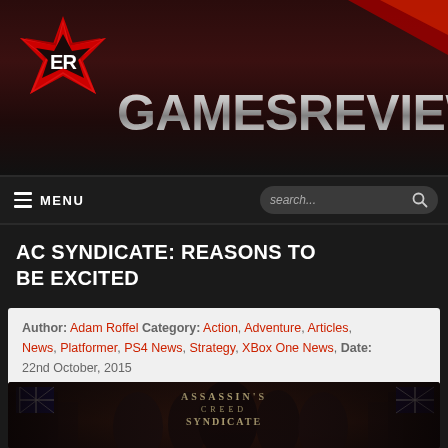[Figure (logo): GamesReviews website header banner with red star logo icon containing 'ER' letters and large metallic 'GAMESREVIEWS' text on dark red/brown background]
MENU  search...
AC SYNDICATE: REASONS TO BE EXCITED
Author: Adam Roffel Category: Action, Adventure, Articles, News, Platformer, PS4 News, Strategy, XBox One News, Date: 22nd October, 2015
[Figure (photo): Assassin's Creed Syndicate game cover art showing characters in Victorian London setting with British flags]